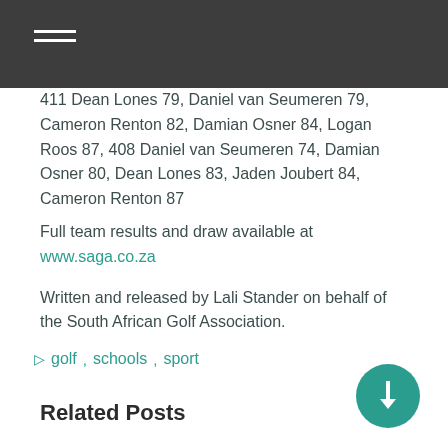411 Dean Lones 79, Daniel van Seumeren 79, Cameron Renton 82, Damian Osner 84, Logan Roos 87, 408 Daniel van Seumeren 74, Damian Osner 80, Dean Lones 83, Jaden Joubert 84, Cameron Renton 87
Full team results and draw available at www.saga.co.za
Written and released by Lali Stander on behalf of the South African Golf Association.
 golf, schools, sport
Related Posts